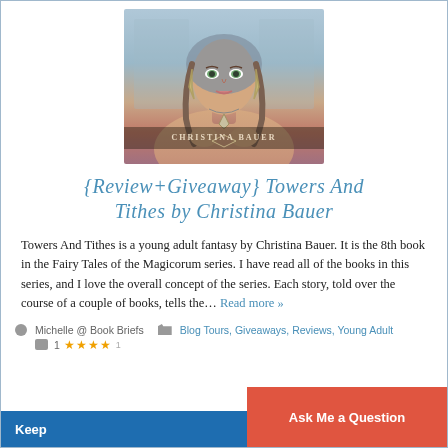[Figure (illustration): Book cover of 'Towers And Tithes' by Christina Bauer — a young woman with braids and ornate jewelry holding a pendant, fantasy art style]
{Review+Giveaway} Towers And Tithes by Christina Bauer
Towers And Tithes is a young adult fantasy by Christina Bauer. It is the 8th book in the Fairy Tales of the Magicorum series. I have read all of the books in this series, and I love the overall concept of the series. Each story, told over the course of a couple of books, tells the… Read more »
Michelle @ Book Briefs   Blog Tours, Giveaways, Reviews, Young Adult
★★★★
Keep   Ask Me a Question